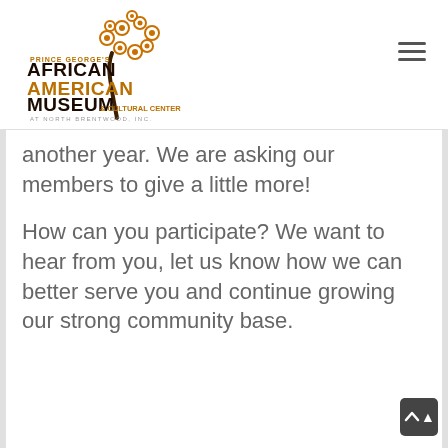[Figure (logo): Prince George's African American Museum & Cultural Center at North Brentwood logo with decorative tree illustration]
another year. We are asking our members to give a little more!
How can you participate? We want to hear from you, let us know how we can better serve you and continue growing our strong community base.